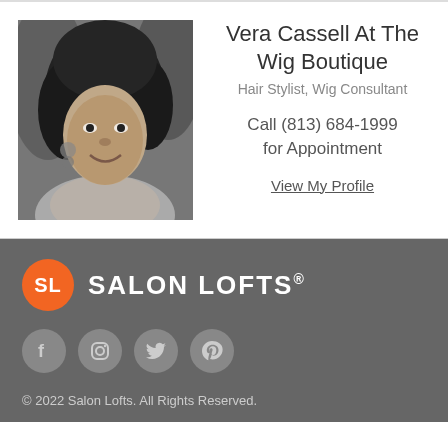[Figure (photo): Black and white photo of Vera Cassell, a woman with curly hair, smiling, wearing earrings]
Vera Cassell At The Wig Boutique
Hair Stylist, Wig Consultant
Call (813) 684-1999 for Appointment
View My Profile
[Figure (logo): Salon Lofts orange circle logo with SL initials and SALON LOFTS text]
[Figure (illustration): Social media icons: Facebook, Instagram, Twitter, Pinterest]
© 2022 Salon Lofts. All Rights Reserved.